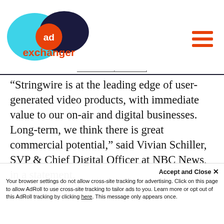AdExchanger logo and navigation
“Stringwire is at the leading edge of user-generated video products, with immediate value to our on-air and digital businesses. Long-term, we think there is great commercial potential,” said Vivian Schiller, SVP & Chief Digital Officer at NBC News, in a statement.
When asked to elaborate on the advertising opportunities behind Stringwire, Schiller demurred, noting in an email that, “it’s too early to say anything specific. Right now, we are focused on...
Accept and Close × Your browser settings do not allow cross-site tracking for advertising. Click on this page to allow AdRoll to use cross-site tracking to tailor ads to you. Learn more or opt out of this AdRoll tracking by clicking here. This message only appears once.